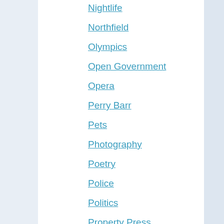Nightlife
Northfield
Olympics
Open Government
Opera
Perry Barr
Pets
Photography
Poetry
Police
Politics
Property Press
Racing
Radio
Redditch
Religion